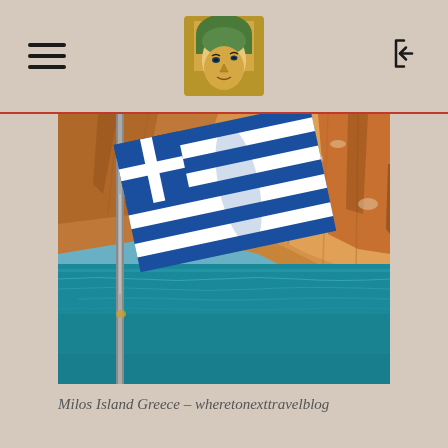Navigation header with hamburger menu, logo, and login icon
[Figure (photo): Greek flag waving with dramatic orange rocky cliffs and turquoise blue sea in the background, taken from a boat at Milos Island, Greece]
Milos Island Greece – wheretonexttravelblog